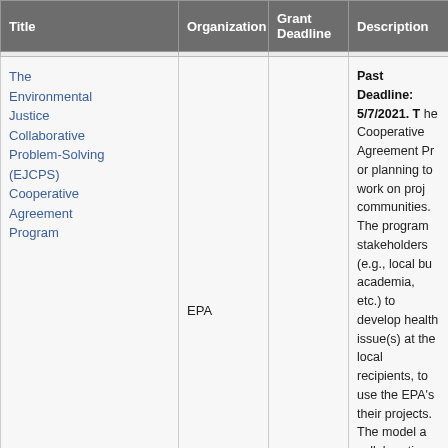| Title | Organization | Grant Deadline | Description |
| --- | --- | --- | --- |
| The Environmental Justice Collaborative Problem-Solving (EJCPS) Cooperative Agreement Program | EPA |  | Past Deadline: 5/7/2021. T... Cooperative Agreement Pr... or planning to work on proj... communities. The program... stakeholders (e.g., local bu... academia, etc.) to develop... health issue(s) at the local... recipients, to use the EPA's... their projects. The model a... collaborative manner with v... institutions, and others. Ca... previous projects. |
| EJ4Climate... |  |  | Deadline passed. Most re... underserved and vulnerable... the United States to prepar... Climate Resilience Grant P... accepting applications for p... by 14 November 2021 and... Protection Agency (EPA), th... cooperative agreements1 t... ... |